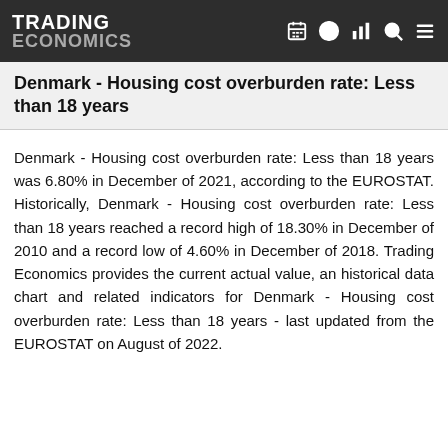TRADING ECONOMICS
Denmark - Housing cost overburden rate: Less than 18 years
Denmark - Housing cost overburden rate: Less than 18 years was 6.80% in December of 2021, according to the EUROSTAT. Historically, Denmark - Housing cost overburden rate: Less than 18 years reached a record high of 18.30% in December of 2010 and a record low of 4.60% in December of 2018. Trading Economics provides the current actual value, an historical data chart and related indicators for Denmark - Housing cost overburden rate: Less than 18 years - last updated from the EUROSTAT on August of 2022.